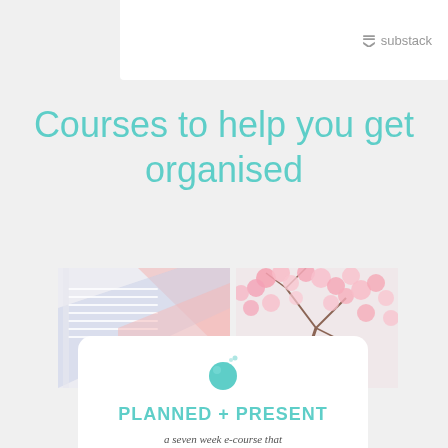[Figure (screenshot): Top portion of a white card with Substack logo in gray text visible at bottom right]
Courses to help you get organised
[Figure (photo): Collage of two photos: left shows pastel pink and blue stationery/notebooks on white surface, right shows pink cherry blossom flowers. Below overlaid is a white rounded card showing 'PLANNED + PRESENT' course title in teal, with teal circular icon above, and description text 'a seven week e-course that takes you step-by-step through how to organise the chaos of family life and the still be...']